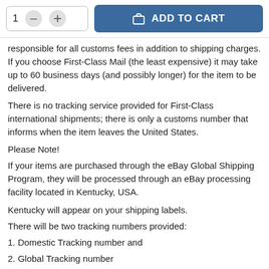[Figure (screenshot): E-commerce product page top bar with quantity selector (showing '1', minus and plus buttons) and a blue 'ADD TO CART' button with shopping bag icon]
responsible for all customs fees in addition to shipping charges. If you choose First-Class Mail (the least expensive) it may take up to 60 business days (and possibly longer) for the item to be delivered.
There is no tracking service provided for First-Class international shipments; there is only a customs number that informs when the item leaves the United States.
Please Note!
If your items are purchased through the eBay Global Shipping Program, they will be processed through an eBay processing facility located in Kentucky, USA.
Kentucky will appear on your shipping labels.
There will be two tracking numbers provided:
1. Domestic Tracking number and
2. Global Tracking number
RETURNS:
If there is a problem with your order you can send us a message through eBay.